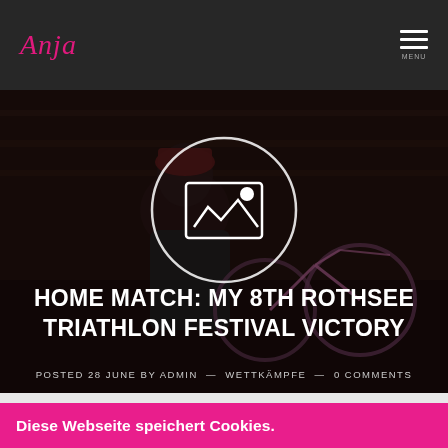Anja — Menu
[Figure (photo): Dark moody photo of a woman wearing a dark red cap sitting near a pink bicycle, with a white circular image/play icon overlay in the center]
HOME MATCH: MY 8TH ROTHSEE TRIATHLON FESTIVAL VICTORY
POSTED 28 JUNE BY ADMIN — WETTKÄMPFE — 0 COMMENTS
Diese Webseite speichert Cookies.